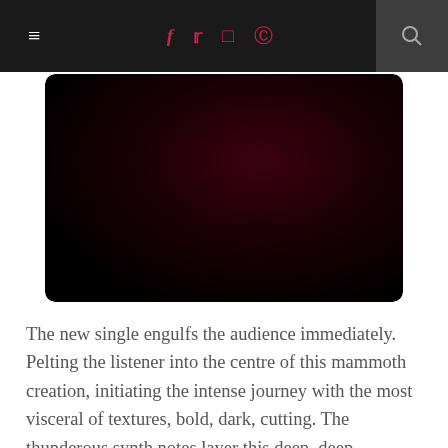≡  f  Twitter  Instagram  Pinterest  🔍
[Figure (photo): Dark near-black image with deep red tones, nearly completely dark, appears to be a music or entertainment related photo]
The new single engulfs the audience immediately. Pelting the listener into the centre of this mammoth creation, initiating the intense journey with the most visceral of textures, bold, dark, cutting. The thunderous synth notes layer this deep, deep, unstoppable low-end whilst the rolling, progressive drum beat staggers the intensity and emphasises the complex depth of this vast ensemble